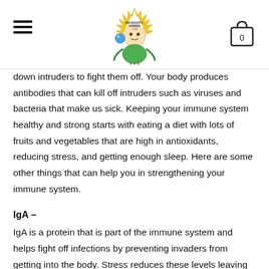[Navigation header with hamburger menu, logo, and cart icon showing 0]
down intruders to fight them off. Your body produces antibodies that can kill off intruders such as viruses and bacteria that make us sick. Keeping your immune system healthy and strong starts with eating a diet with lots of fruits and vegetables that are high in antioxidants, reducing stress, and getting enough sleep. Here are some other things that can help you in strengthening your immune system.
IgA –
IgA is a protein that is part of the immune system and helps fight off infections by preventing invaders from getting into the body. Stress reduces these levels leaving the immune system more vulnerable. Levels of IgA can be increased by activities such as laughing